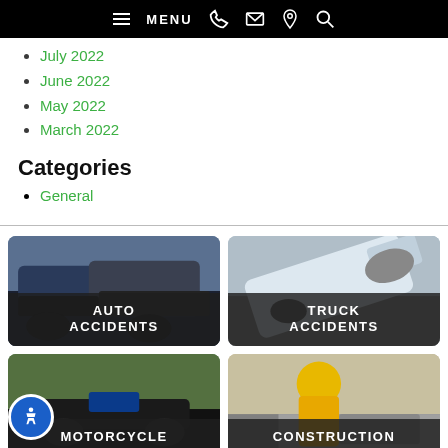MENU (navigation bar with phone, email, location, search icons)
July 2022
June 2022
May 2022
March 2022
Categories
General
[Figure (photo): Auto Accidents – two damaged cars after a collision]
[Figure (photo): Truck Accidents – overturned truck]
[Figure (photo): Motorcycle – motorcycle on ground]
[Figure (photo): Construction – construction worker injured on site]